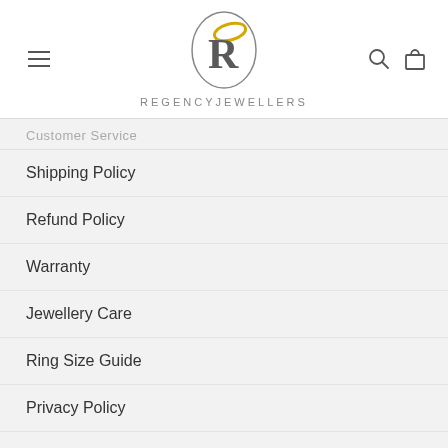[Figure (logo): Regency Jewellers logo: oval with stylized R and gold ring graphic, brand name REGENCYJEWELLERS below]
Customer Service
Shipping Policy
Refund Policy
Warranty
Jewellery Care
Ring Size Guide
Privacy Policy
Terms of Service
Our Locations
Make an Appointment